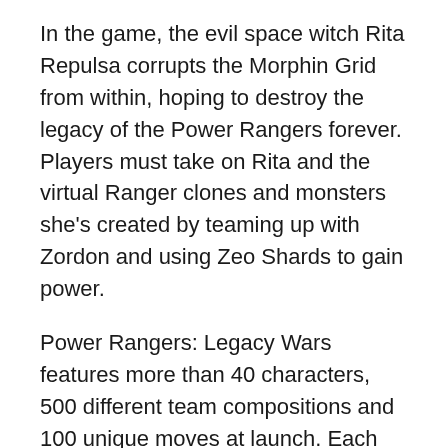In the game, the evil space witch Rita Repulsa corrupts the Morphin Grid from within, hoping to destroy the legacy of the Power Rangers forever. Players must take on Rita and the virtual Ranger clones and monsters she's created by teaming up with Zordon and using Zeo Shards to gain power.
Power Rangers: Legacy Wars features more than 40 characters, 500 different team compositions and 100 unique moves at launch. Each Ranger and villain has distinct animations and attacks specific to that character.
Power Rangers: Legacy Wars features:
Real-time online head-to-head battles;
Console-quality graphics and gameplay;